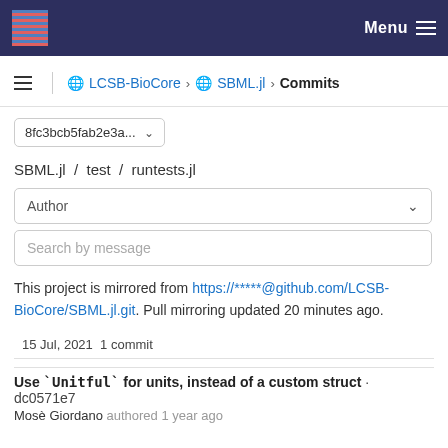Menu
LCSB-BioCore > SBML.jl > Commits
8fc3bcb5fab2e3a...
SBML.jl / test / runtests.jl
Author
Search by message
This project is mirrored from https://*****@github.com/LCSB-BioCore/SBML.jl.git. Pull mirroring updated 20 minutes ago.
15 Jul, 2021 1 commit
Use `Unitful` for units, instead of a custom struct · dc0571e7
Mosè Giordano authored 1 year ago